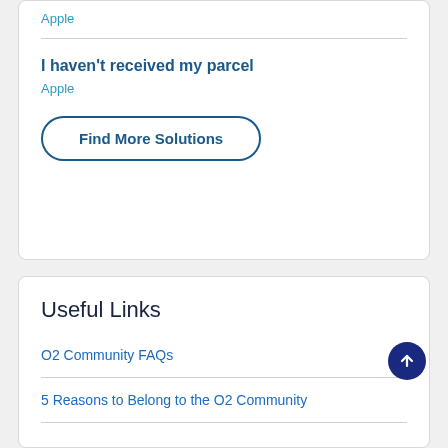Apple
I haven't received my parcel
Apple
Find More Solutions
Useful Links
O2 Community FAQs
5 Reasons to Belong to the O2 Community